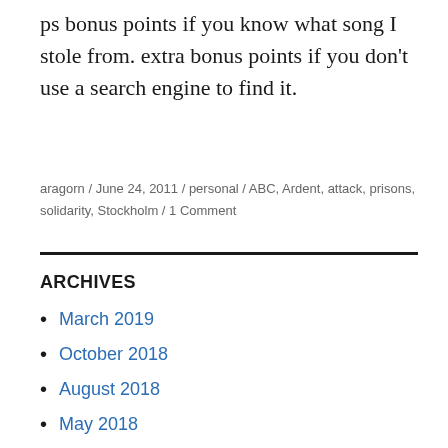ps bonus points if you know what song I stole from. extra bonus points if you don't use a search engine to find it.
aragorn / June 24, 2011 / personal / ABC, Ardent, attack, prisons, solidarity, Stockholm / 1 Comment
ARCHIVES
March 2019
October 2018
August 2018
May 2018
November 2017
April 2017